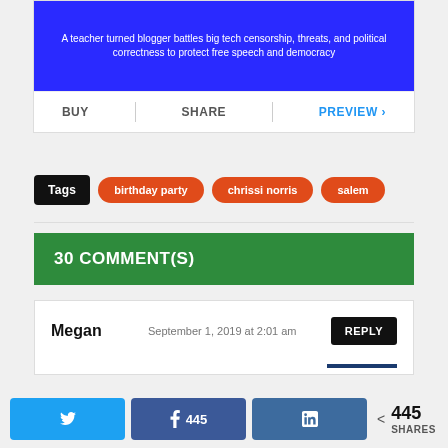[Figure (screenshot): Blue book cover with white text: 'A teacher turned blogger battles big tech censorship, threats, and political correctness to protect free speech and democracy']
BUY | SHARE | PREVIEW ›
Tags  birthday party  chrissi norris  salem
30 COMMENT(S)
Megan   September 1, 2019 at 2:01 am   REPLY
Twitter  Facebook 445  LinkedIn  < 445 SHARES